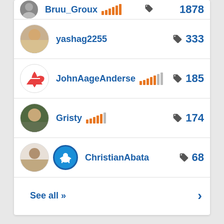Bruu_Groux 1878
yashag2255 333
JohnAageAnderse 185
Gristy 174
ChristianAbata 68
See all »